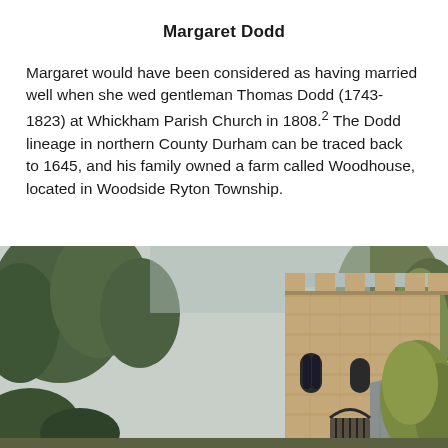Margaret Dodd
Margaret would have been considered as having married well when she wed gentleman Thomas Dodd (1743-1823) at Whickham Parish Church in 1808.² The Dodd lineage in northern County Durham can be traced back to 1645, and his family owned a farm called Woodhouse, located in Woodside Ryton Township.
[Figure (photo): Photograph of a stone church tower with battlements, surrounded by trees, with a slate roof visible to the right. The image appears to be Whickham Parish Church.]